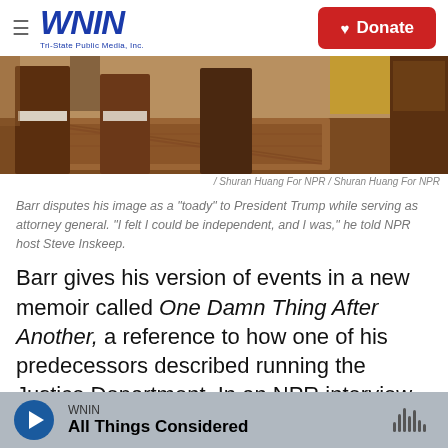WNIN Tri-State Public Media, Inc. | Donate
[Figure (photo): Interior dining room scene with wooden chairs, tablecloth, and patterned rug on hardwood floor]
/ Shuran Huang For NPR  /  Shuran Huang For NPR
Barr disputes his image as a "toady" to President Trump while serving as attorney general. "I felt I could be independent, and I was," he told NPR host Steve Inskeep.
Barr gives his version of events in a new memoir called One Damn Thing After Another, a reference to how one of his predecessors described running the Justice Department. In an NPR interview, Barr maintains that he bluntly refuted the president's
WNIN  All Things Considered